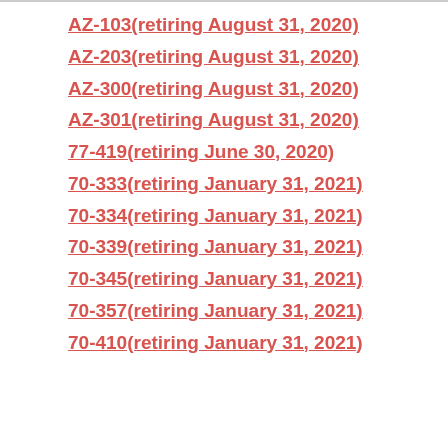AZ-103(retiring August 31, 2020)
AZ-203(retiring August 31, 2020)
AZ-300(retiring August 31, 2020)
AZ-301(retiring August 31, 2020)
77-419(retiring June 30, 2020)
70-333(retiring January 31, 2021)
70-334(retiring January 31, 2021)
70-339(retiring January 31, 2021)
70-345(retiring January 31, 2021)
70-357(retiring January 31, 2021)
70-410(retiring January 31, 2021)